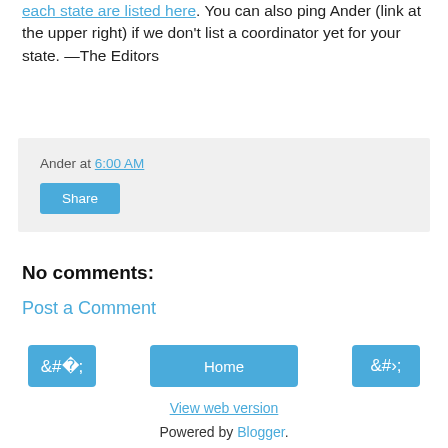each state are listed here. You can also ping Ander (link at the upper right) if we don't list a coordinator yet for your state. —The Editors
Ander at 6:00 AM
Share
No comments:
Post a Comment
‹
Home
›
View web version
Powered by Blogger.